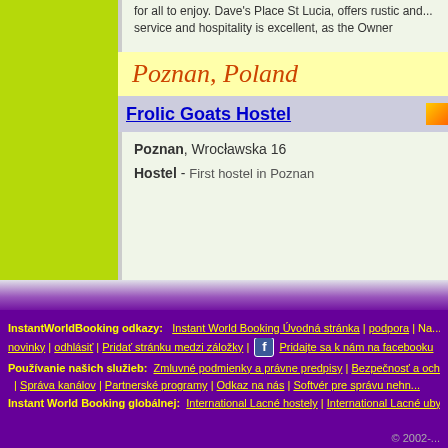for all to enjoy. Dave's Place St Lucia, offers rustic and... service and hospitality is excellent, as the Owner
Poznan, Poland
Frolic Goats Hostel
Poznan, Wrocławska 16
Hostel - First hostel in Poznan
ponuky hotelov najlacnejšie hotely, a rozpočet cesto...
InstantWorldBooking odkazy:   Instant World Booking Úvodná stránka  |  podpora  |  Na... novinky  |  odhlásiť  |  Pridať stránku medzi záložky  |  [facebook]  Pridajte sa k nám na facebooku
Používanie našich služieb:  Zmluvné podmienky a právne predpisy  |  Bezpečnosť a och...  |  Správa kanálov  |  Partnerské programy  |  Odkaz na nás  |  Softvér pre správu nehn...
Instant World Booking globálnej:  International Lacné hostely  |  International Lacné uby...
© 2002-...